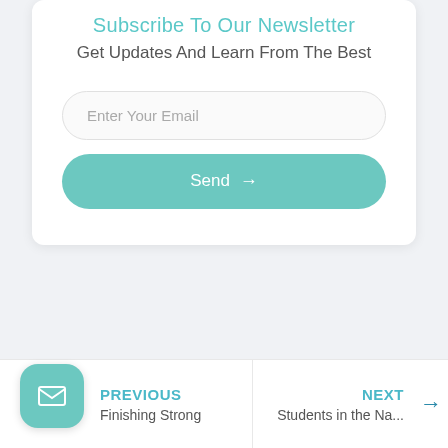Subscribe To Our Newsletter
Get Updates And Learn From The Best
[Figure (screenshot): Email input field with placeholder text 'Enter Your Email' and a teal rounded Send button with arrow]
PREVIOUS
Finishing Strong
NEXT
Students in the Na...
[Figure (other): Teal rounded square mail/envelope button in the bottom left corner]